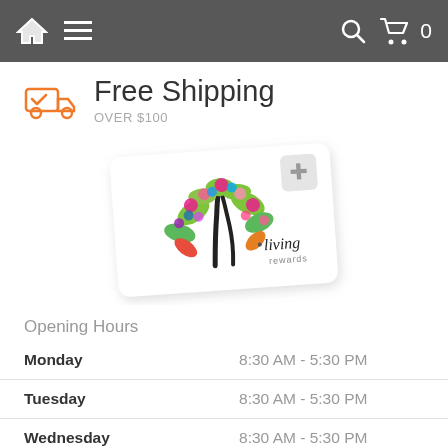Navigation bar with home, menu, search, and cart icons
Free Shipping OVER $100
[Figure (illustration): Living Rewards loyalty card featuring a colorful flowering tree design with 'living rewards' branding]
Opening Hours
| Day | Hours |
| --- | --- |
| Monday | 8:30 AM - 5:30 PM |
| Tuesday | 8:30 AM - 5:30 PM |
| Wednesday | 8:30 AM - 5:30 PM |
| Thursday | 8:30 AM - 5:30 PM |
| Friday | 8:30 AM - 5:30 PM |